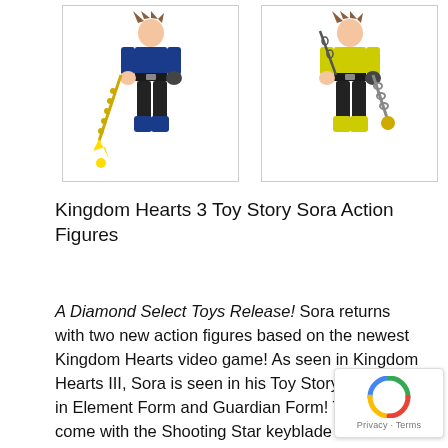[Figure (photo): Two Kingdom Hearts 3 Toy Story Sora action figures side by side. Left figure wears blue outfit with blue boots and holds a star keyblade. Right figure wears yellow outfit with yellow boots and holds a chain weapon. Both have black armor accents.]
Kingdom Hearts 3 Toy Story Sora Action Figures
A Diamond Select Toys Release! Sora returns with two new action figures based on the newest Kingdom Hearts video game! As seen in Kingdom Hearts III, Sora is seen in his Toy Story look, but in Element Form and Guardian Form! The figures come with the Shooting Star keyblade and Hero's Origin keyblade, repectively, and each comes packaged on a full-color blister card. Sculpted by Oluf W.